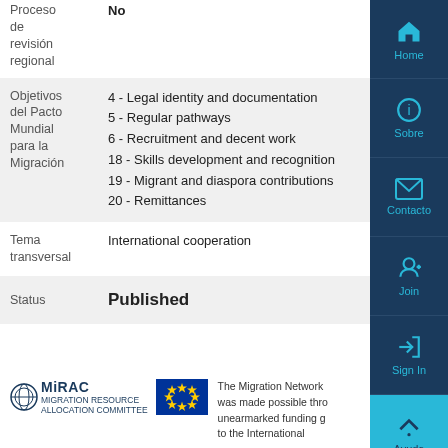Proceso de revisión regional: No
| Campo | Valor |
| --- | --- |
| Objetivos del Pacto Mundial para la Migración | 4 - Legal identity and documentation
5 - Regular pathways
6 - Recruitment and decent work
18 - Skills development and recognition
19 - Migrant and diaspora contributions
20 - Remittances |
| Tema transversal | International cooperation |
| Status | Published |
The Migration Network was made possible through unearmarked funding given to the International